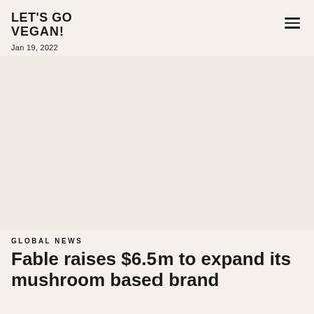LET'S GO VEGAN!
Jan 19, 2022
[Figure (photo): Large image placeholder area with beige/cream background, likely a food/mushroom photo]
GLOBAL NEWS
Fable raises $6.5m to expand its mushroom based brand